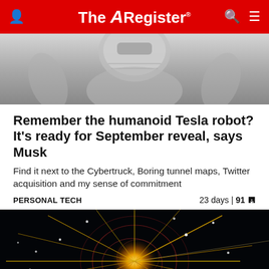The Register
[Figure (photo): Humanoid robot figure, silver/white tones, close-up of upper body and head area]
Remember the humanoid Tesla robot? It's ready for September reveal, says Musk
Find it next to the Cybertruck, Boring tunnel maps, Twitter acquisition and my sense of commitment
PERSONAL TECH    23 days | 91 💬
[Figure (photo): Particle collision visualization on dark background with golden/yellow streaks radiating from center, with circular arc trails in red/pink]